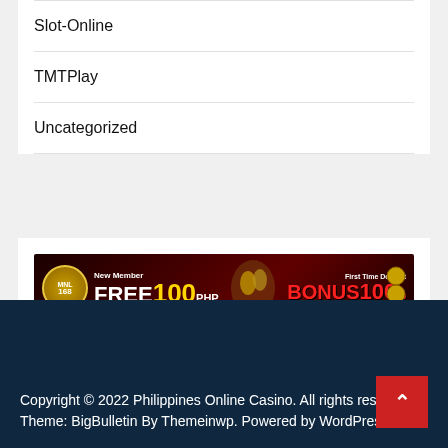Slot-Online
TMTPlay
Uncategorized
[Figure (illustration): MNL168 casino banner advertisement: New Member FREE 100 PHP and First Time Deposit BONUS 100%]
Copyright © 2022 Philippines Online Casino. All rights reserved. Theme: BigBulletin By Themeinwp. Powered by WordPress.